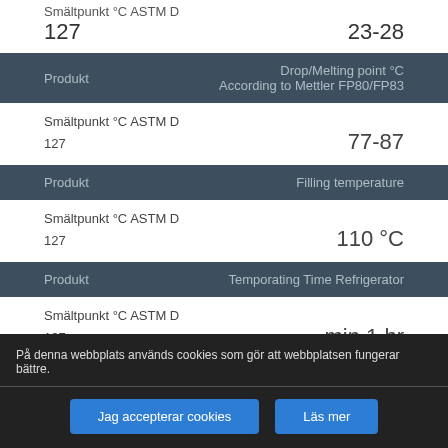Smältpunkt °C ASTM D 127	23-28
| Produkt | Drop/Melting point °C According to Mettler FP80/FP83 |
| --- | --- |
| Smältpunkt °C ASTM D
127 | 77-87 |
| Produkt | Filling temperature |
| --- | --- |
| Smältpunkt °C ASTM D
127 | 110 °C |
| Produkt | Temporating Time Refrigerator |
| --- | --- |
| Smältpunkt °C ASTM D
127 | min 1 hr |
På denna webbplats används cookies som gör att webbplatsen fungerar bättre.
Jag accepterar cookies	Läs mer